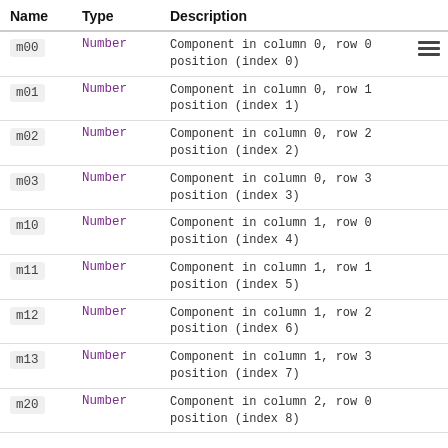| Name | Type | Description |
| --- | --- | --- |
| m00 | Number | Component in column 0, row 0 position (index 0) |
| m01 | Number | Component in column 0, row 1 position (index 1) |
| m02 | Number | Component in column 0, row 2 position (index 2) |
| m03 | Number | Component in column 0, row 3 position (index 3) |
| m10 | Number | Component in column 1, row 0 position (index 4) |
| m11 | Number | Component in column 1, row 1 position (index 5) |
| m12 | Number | Component in column 1, row 2 position (index 6) |
| m13 | Number | Component in column 1, row 3 position (index 7) |
| m20 | Number | Component in column 2, row 0 position (index 8) |